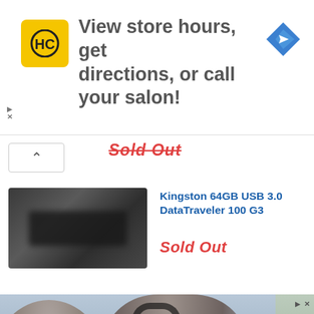[Figure (screenshot): Advertisement banner showing HC logo (yellow square with HC text), headline 'View store hours, get directions, or call your salon!' and a blue navigation/directions icon on the right. Small play and X controls at bottom-left.]
Sold Out
Kingston 64GB USB 3.0 DataTraveler 100 G3
[Figure (photo): Product image of Kingston 64GB USB 3.0 DataTraveler 100 G3, blurred/obscured dark USB drive on grey background.]
Sold Out
[Figure (photo): Bottom advertisement photo showing people wearing headphones in a busy transit or public setting. Overlay chat widget reads 'Questions? We can help. Chat with us now.' with a blue circular chat icon.]